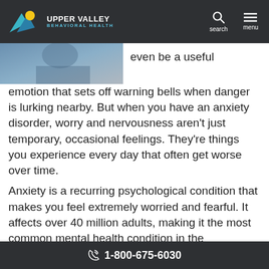UPPER VALLEY BEHAVIORAL HEALTH — search — menu
[Figure (photo): Partial photograph of a person in blue clothing, cropped at upper left of content area]
even be a useful emotion that sets off warning bells when danger is lurking nearby. But when you have an anxiety disorder, worry and nervousness aren't just temporary, occasional feelings. They're things you experience every day that often get worse over time.
Anxiety is a recurring psychological condition that makes you feel extremely worried and fearful. It affects over 40 million adults, making it the most common mental health condition in the
1-800-675-6030